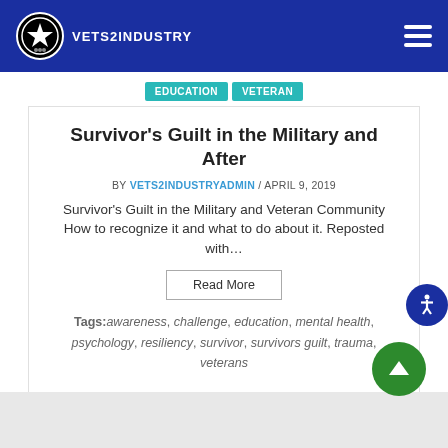VETS2INDUSTRY
Survivor's Guilt in the Military and After
BY VETS2INDUSTRYADMIN / APRIL 9, 2019
Survivor's Guilt in the Military and Veteran Community How to recognize it and what to do about it. Reposted with...
Read More
Tags: awareness, challenge, education, mental health, psychology, resiliency, survivor, survivors guilt, trauma, veterans